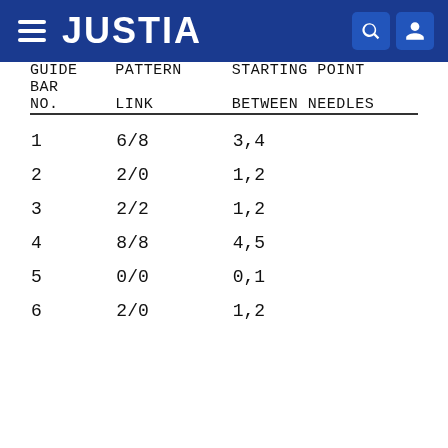JUSTIA
| GUIDE BAR NO. | PATTERN LINK | STARTING POINT BETWEEN NEEDLES |
| --- | --- | --- |
| 1 | 6/8 | 3,4 |
| 2 | 2/0 | 1,2 |
| 3 | 2/2 | 1,2 |
| 4 | 8/8 | 4,5 |
| 5 | 0/0 | 0,1 |
| 6 | 2/0 | 1,2 |